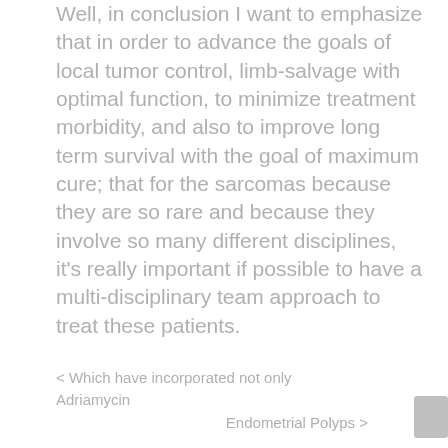Well, in conclusion I want to emphasize that in order to advance the goals of local tumor control, limb-salvage with optimal function, to minimize treatment morbidity, and also to improve long term survival with the goal of maximum cure; that for the sarcomas because they are so rare and because they involve so many different disciplines, it's really important if possible to have a multi-disciplinary team approach to treat these patients.
< Which have incorporated not only Adriamycin
Endometrial Polyps >